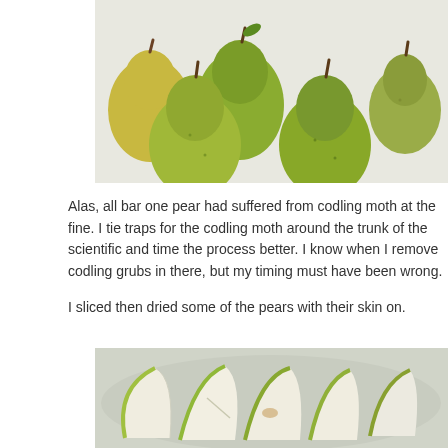[Figure (photo): Photo of multiple green-yellow pears grouped together on a white surface, viewed from above.]
Alas, all bar one pear had suffered from codling moth at the fine. I tie traps for the codling moth around the trunk of the scientific and time the process better. I know when I remove codling grubs in there, but my timing must have been wrong.
I sliced then dried some of the pears with their skin on.
[Figure (photo): Photo of sliced pear wedges laid out on a light surface, showing white flesh and green skin.]